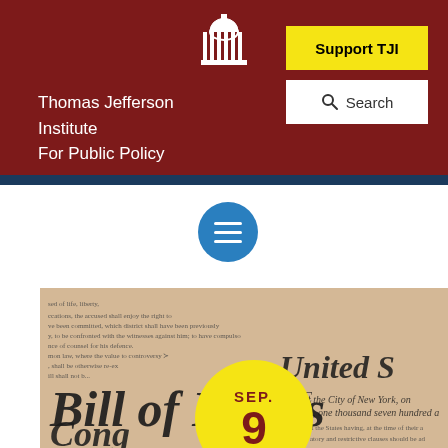Thomas Jefferson Institute For Public Policy
Support TJI
Search
[Figure (screenshot): Website screenshot showing Thomas Jefferson Institute for Public Policy header with logo, navigation, and a Bill of Rights document image with a yellow date badge showing SEP. 9]
SEP. 9